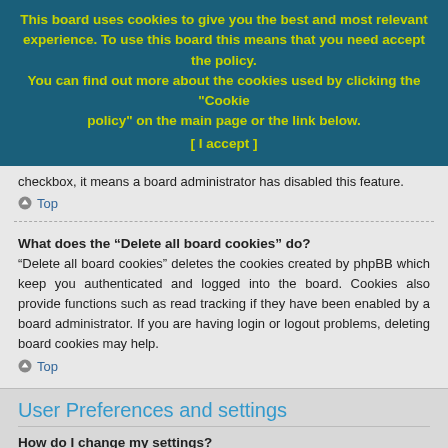This board uses cookies to give you the best and most relevant experience. To use this board this means that you need accept the policy. You can find out more about the cookies used by clicking the "Cookie policy" on the main page or the link below. [ I accept ]
checkbox, it means a board administrator has disabled this feature.
Top
What does the “Delete all board cookies” do?
“Delete all board cookies” deletes the cookies created by phpBB which keep you authenticated and logged into the board. Cookies also provide functions such as read tracking if they have been enabled by a board administrator. If you are having login or logout problems, deleting board cookies may help.
Top
User Preferences and settings
How do I change my settings?
If you are a registered user, all your settings are stored in the board database. To alter them, visit your User Control Panel; a link can usually be found by clicking on your username at the top of board pages. This system will allow you to change all your settings and preferences.
Top